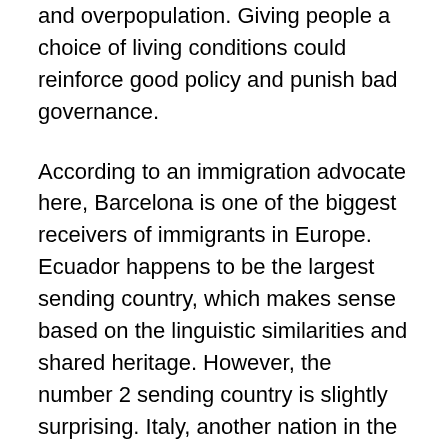and overpopulation.  Giving people a choice of living conditions could reinforce good policy and punish bad governance.
According to an immigration advocate here, Barcelona is one of the biggest receivers of immigrants in Europe.  Ecuador happens to be the largest sending country, which makes sense based on the linguistic similarities and shared heritage.  However, the number 2 sending country is slightly surprising.  Italy, another nation in the European Union, would hardly seem like a country facing a mass exodus.  However, Italy´s current government is so awful that many Italians are more than willing to immigrate to neighboring Spain, even though it means learning Castellano and Catalan as well as leaving behind their heritage.  A government such as Italy´s cannot continue to make bad decisions, or it soon will be like the ruler alone